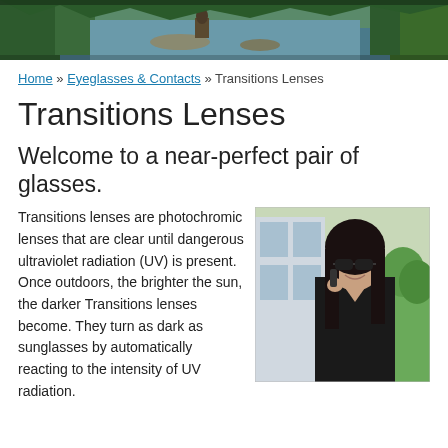[Figure (photo): Banner photo of a person on horseback near a river surrounded by trees and forest landscape]
Home » Eyeglasses & Contacts » Transitions Lenses
Transitions Lenses
Welcome to a near-perfect pair of glasses.
[Figure (photo): Woman with dark hair wearing sunglasses, smiling and talking on a cell phone, dressed in black, standing outdoors near a modern building]
Transitions lenses are photochromic lenses that are clear until dangerous ultraviolet radiation (UV) is present. Once outdoors, the brighter the sun, the darker Transitions lenses become. They turn as dark as sunglasses by automatically reacting to the intensity of UV radiation.